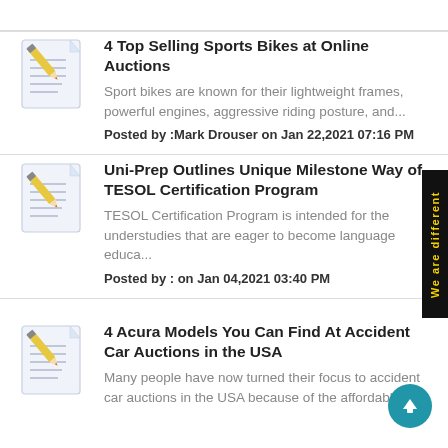4 Top Selling Sports Bikes at Online Auctions — Sport bikes are known for their lightweight frames, powerful engines, aggressive riding posture, and... — Posted by :Mark Drouser on Jan 22,2021 07:16 PM
Uni-Prep Outlines Unique Milestone Way of TESOL Certification Program — TESOL Certification Program is intended for the understudies that are eager to become language educa... — Posted by : on Jan 04,2021 03:40 PM
4 Acura Models You Can Find At Accident Car Auctions in the USA — Many people have now turned their focus to accident car auctions in the USA because of the affordabl...